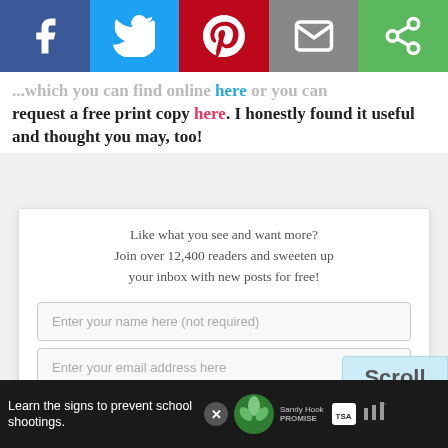[Figure (other): Social media sharing bar with Facebook, Twitter, Pinterest, Email, and another sharing button icons]
...which you can find online here or you can request a free print copy here. I honestly found it useful and thought you may, too!
Like what you see and want more? Join over 12,400 readers and sweeten up your inbox with new posts for free!
Enter your name here (not required)
Enter your email address here
Subscribe
Your information will not be shared or sold to a third party. This subscription is free of charge and can be canceled at any time.
Scroll to top
Learn the signs to prevent school shootings.